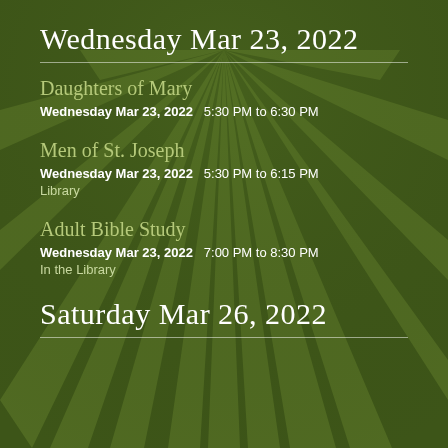Wednesday Mar 23, 2022
Daughters of Mary
Wednesday Mar 23, 2022  5:30 PM to 6:30 PM
Men of St. Joseph
Wednesday Mar 23, 2022  5:30 PM to 6:15 PM
Library
Adult Bible Study
Wednesday Mar 23, 2022  7:00 PM to 8:30 PM
In the Library
Saturday Mar 26, 2022